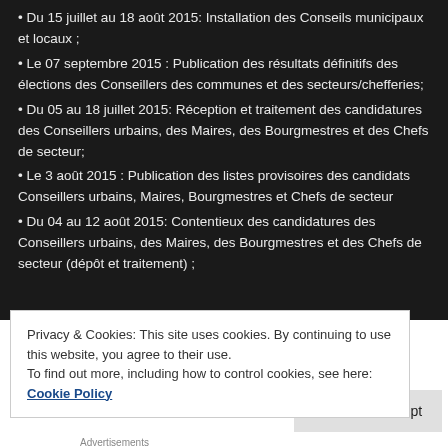• Du 15 juillet au 18 août 2015: Installation des Conseils municipaux et locaux ;
• Le 07 septembre 2015 : Publication des résultats définitifs des élections des Conseillers des communes et des secteurs/chefferies;
• Du 05 au 18 juillet 2015: Réception et traitement des candidatures des Conseillers urbains, des Maires, des Bourgmestres et des Chefs de secteur;
• Le 3 août 2015 : Publication des listes provisoires des candidats Conseillers urbains, Maires, Bourgmestres et Chefs de secteur
• Du 04 au 12 août 2015: Contentieux des candidatures des Conseillers urbains, des Maires, des Bourgmestres et des Chefs de secteur (dépôt et traitement) ;
Privacy & Cookies: This site uses cookies. By continuing to use this website, you agree to their use.
To find out more, including how to control cookies, see here: Cookie Policy
Close and accept
Advertisements